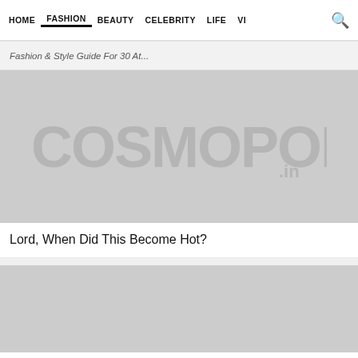HOME  FASHION  BEAUTY  CELEBRITY  LIFE  VI
Fashion & Style Guide For 30 At...
[Figure (logo): Cosmopolitan.in logo placeholder image in gray]
Lord, When Did This Become Hot?
[Figure (photo): Second article image placeholder in gray, partially visible]